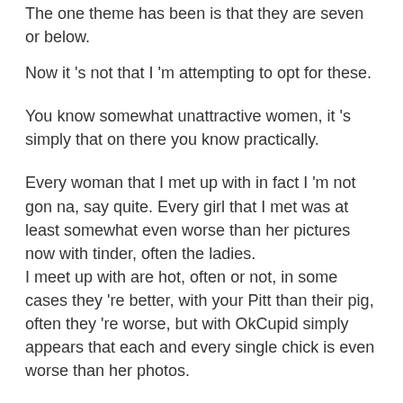The one theme has been is that they are seven or below.
Now it 's not that I 'm attempting to opt for these.
You know somewhat unattractive women, it 's simply that on there you know practically.
Every woman that I met up with in fact I 'm not gon na, say quite. Every girl that I met was at least somewhat even worse than her pictures now with tinder, often the ladies. I meet up with are hot, often or not, in some cases they 're better, with your Pitt than their pig, often they 're worse, but with OkCupid simply appears that each and every single chick is even worse than her photos.
That 's at least been my personal experience. So another thing I will state is that yes, it 's badly outdated, however if you 're over 40, that may be the exception, due to the fact that you know back when you know that generation back when OkCupid was coming out there were, you know in the early 20s, so